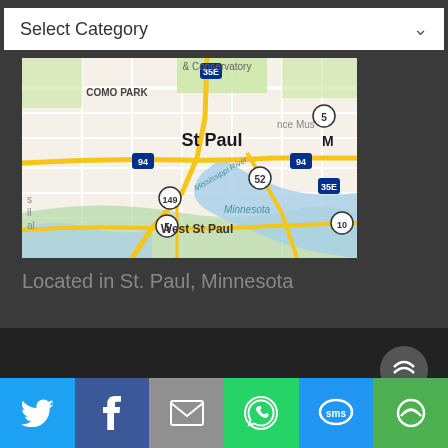Select Category
[Figure (map): Google Maps screenshot showing St. Paul, Minnesota area including Como Park, West St. Paul, Mississippi River, highways 35E, 94, 52, 5, 149]
Located in St. Paul, Minnesota
[Figure (other): Share bar with Twitter, Facebook, Email, WhatsApp, SMS, and More buttons]